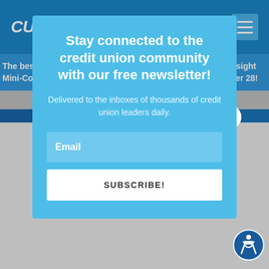CUInsight
The best virtual event series for credit union leaders: CUInsight Mini-Con. Save your spot for the next session on September 28!
[Figure (screenshot): Newsletter signup modal overlay on CUInsight website]
Stay connected to the credit union community with our free newsletter!
Delivered to the inboxes of thousands of credit union leaders daily.
Email
SUBSCRIBE!